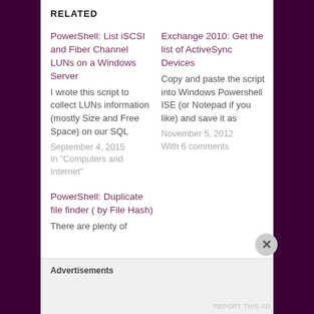RELATED
PowerShell: List iSCSI and Fiber Channel LUNs on a Windows Server
I wrote this script to collect LUNs information (mostly Size and Free Space) on our SQL
September 4, 2015
In "Computers and Internet"
Exchange 2010: Get the list of ActiveSync Devices
Copy and paste the script into Windows Powershell ISE (or Notepad if you like) and save it as
November 5, 2012
With 6 comments
PowerShell: Duplicate file finder ( by File Hash)
There are plenty of
Advertisements